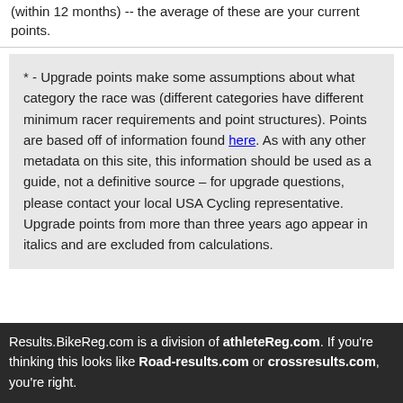(within 12 months) -- the average of these are your current points.
* - Upgrade points make some assumptions about what category the race was (different categories have different minimum racer requirements and point structures). Points are based off of information found here. As with any other metadata on this site, this information should be used as a guide, not a definitive source – for upgrade questions, please contact your local USA Cycling representative. Upgrade points from more than three years ago appear in italics and are excluded from calculations.
Results.BikeReg.com is a division of athleteReg.com. If you're thinking this looks like Road-results.com or crossresults.com, you're right.